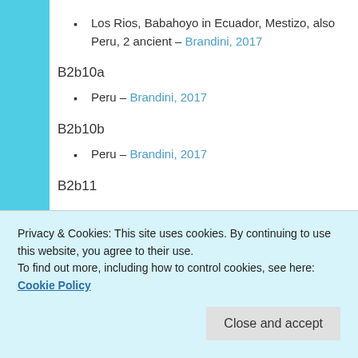Los Rios, Babahoyo in Ecuador, Mestizo, also Peru, 2 ancient – Brandini, 2017
B2b10a
Peru – Brandini, 2017
B2b10b
Peru – Brandini, 2017
B2b11
Privacy & Cookies: This site uses cookies. By continuing to use this website, you agree to their use. To find out more, including how to control cookies, see here: Cookie Policy